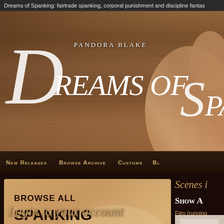Dreams of Spanking: fairtrade spanking, corporal punishment and discipline fantas
[Figure (screenshot): Hero banner with wooden plank background showing 'Pandora Blake Dreams of Spanking' logo in white serif/italic typeface]
New Releases   Browse Archive   Customs   Bl
[Figure (screenshot): Browse all spanking scenes by category promotional banner with skin-tone photo background and double chevron arrows]
BROWSE ALL SPANKING SCENES by category »
Scenes i
SHOW A
Film (running
Login to your account